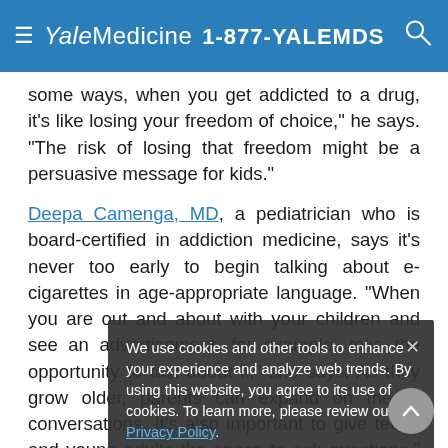Yale Medicine 1-877-YALEMDS
some ways, when you get addicted to a drug, it's like losing your freedom of choice," he says. "The risk of losing that freedom might be a persuasive message for kids."
Deepa Camenga, MD, a pediatrician who is board-certified in addiction medicine, says it's never too early to begin talking about e-cigarettes in age-appropriate language. "When you are out and about with your children and see an advertisement, for example, take the opportunity to talk about it," she says. As they grow older, parents can expand on these conversations. It's also important to give teens and young adults the space to ask questions," she says.
Patrick O'Connor, MD, Yale Medicine's chief of
We use cookies and other tools to enhance your experience and analyze web trends. By using this website, you agree to its use of cookies. To learn more, please review our Privacy Policy.